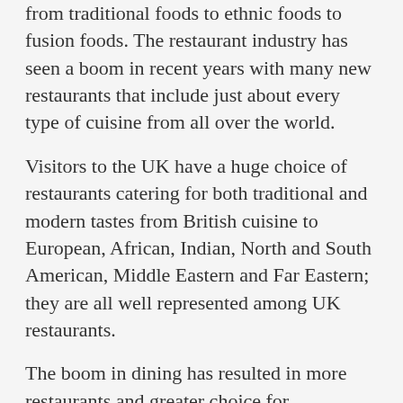from traditional foods to ethnic foods to fusion foods. The restaurant industry has seen a boom in recent years with many new restaurants that include just about every type of cuisine from all over the world.
Visitors to the UK have a huge choice of restaurants catering for both traditional and modern tastes from British cuisine to European, African, Indian, North and South American, Middle Eastern and Far Eastern; they are all well represented among UK restaurants.
The boom in dining has resulted in more restaurants and greater choice for customers, it has also meant increased competition among restaurants as they strive to attract and retain customers. The UK dining scene has become internationally acclaimed for its choice and range of dining establishments in cities such as London and others across the UK, visitors can find a huge range of restaurants to suit any dining needs.